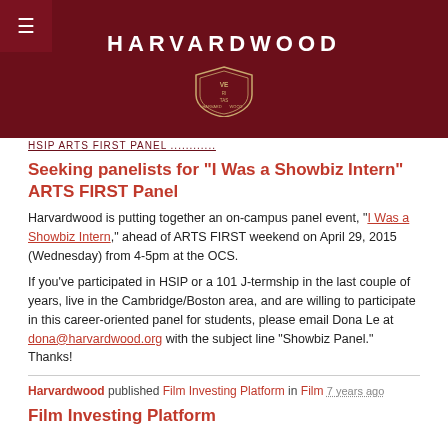HARVARDWOOD
HSIP ARTS FIRST PANEL ...
Seeking panelists for "I Was a Showbiz Intern" ARTS FIRST Panel
Harvardwood is putting together an on-campus panel event, "I Was a Showbiz Intern," ahead of ARTS FIRST weekend on April 29, 2015 (Wednesday) from 4-5pm at the OCS.
If you've participated in HSIP or a 101 J-termship in the last couple of years, live in the Cambridge/Boston area, and are willing to participate in this career-oriented panel for students, please email Dona Le at dona@harvardwood.org with the subject line "Showbiz Panel." Thanks!
Harvardwood published Film Investing Platform in Film 7 years ago
Film Investing Platform